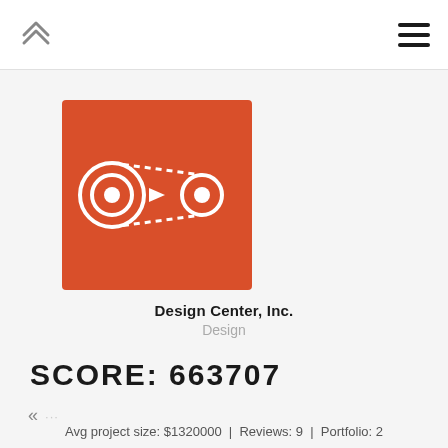[Figure (logo): Orange square with white infinity-loop / chain-link logo mark for Design Center, Inc.]
Design Center, Inc.
Design
SCORE: 663707
«
Avg project size: $1320000  |  Reviews: 9  |  Portfolio: 2